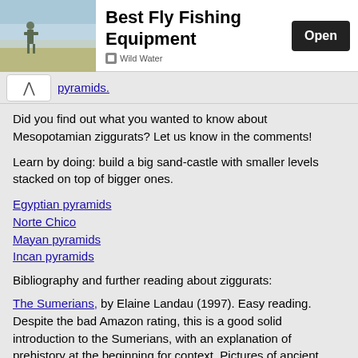[Figure (photo): Ad banner for Best Fly Fishing Equipment by Wild Water with an Open button]
pyramids.
Did you find out what you wanted to know about Mesopotamian ziggurats? Let us know in the comments!
Learn by doing: build a big sand-castle with smaller levels stacked on top of bigger ones.
Egyptian pyramids
Norte Chico
Mayan pyramids
Incan pyramids
Bibliography and further reading about ziggurats:
The Sumerians, by Elaine Landau (1997). Easy reading. Despite the bad Amazon rating, this is a good solid introduction to the Sumerians, with an explanation of prehistory at the beginning for context. Pictures of ancient stuff, and good maps.
The Art and Architecture of the Ancient Orient, by Henri Frankfort (5th edition 1997). The standard for college art history classes.
Sumerians